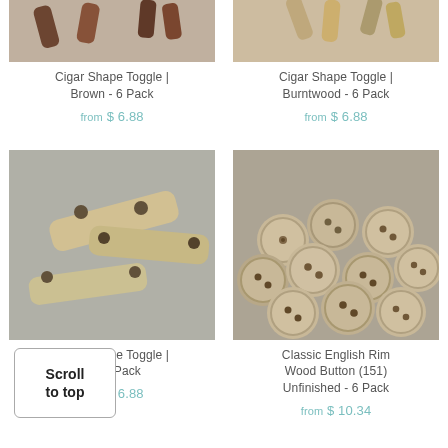[Figure (photo): Cigar shape toggle buttons in brown color, partially cropped at top]
Cigar Shape Toggle | Brown - 6 Pack
from $ 6.88
[Figure (photo): Cigar shape toggle buttons in burntwood color, partially cropped at top]
Cigar Shape Toggle | Burntwood - 6 Pack
from $ 6.88
[Figure (photo): Cigar shape toggle buttons in natural color on grey fabric background]
Cigar Shape Toggle | Natural - 6 Pack
from $ 6.88
[Figure (photo): Classic English Rim Wood Buttons, unfinished, stacked in a pile on grey fabric background]
Classic English Rim Wood Button (151) Unfinished - 6 Pack
from $ 10.34
[Figure (other): Scroll to top button overlay]